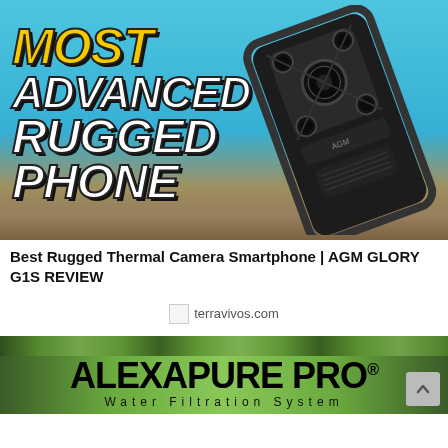[Figure (photo): Rugged smartphone (AGM Glory G1S) photographed from the back, floating diagonally over a beach/rocky outdoor scene with blue sky. Text overlay on left reads 'MOST ADVANCED RUGGED PHONE' in bold italic yellow and white text with black outline.]
Best Rugged Thermal Camera Smartphone | AGM GLORY G1S REVIEW
[Figure (logo): Broken image placeholder followed by text 'terravivos.com' — an advertisement or sponsored link thumbnail.]
[Figure (photo): Bottom advertisement banner showing 'ALEXAPURE PRO® Water Filtration System' text over a green outdoor/nature background.]